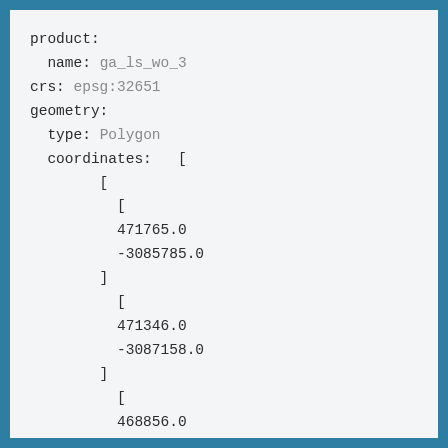product:
  name: ga_ls_wo_3
crs: epsg:32651
geometry:
  type: Polygon
  coordinates:   [
        [
          [
          471765.0
          -3085785.0
        ]
          [
          471346.0
          -3087158.0
        ]
          [
          468856.0
          -3097688.0
        ]
        ]